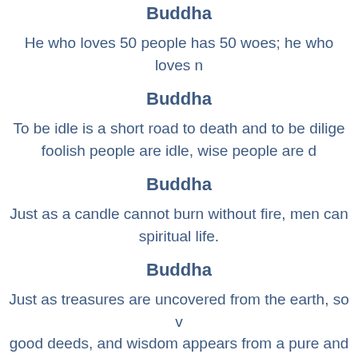Buddha
He who loves 50 people has 50 woes; he who loves no one has no woes.
Buddha
To be idle is a short road to death and to be diligent is a way of life; foolish people are idle, wise people are diligent.
Buddha
Just as a candle cannot burn without fire, men cannot live without a spiritual life.
Buddha
Just as treasures are uncovered from the earth, so virtue appears from good deeds, and wisdom appears from a pure and peaceful mind. To walk safely through the maze of human life, one needs the light of wisdom and the guidance of virtue.
Buddha
No one saves us but ourselves. No one can and no one may. We ourselves must walk the path.